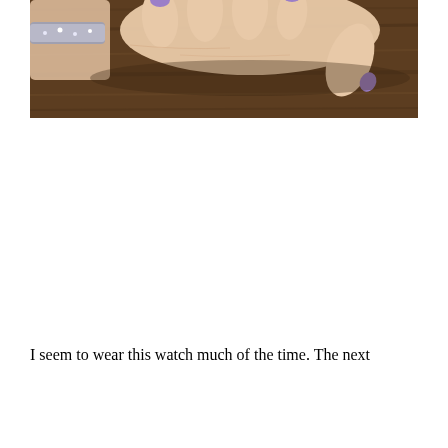[Figure (photo): A photograph of a woman's hand resting palm-down on a dark wood surface. The hand has purple/lavender painted fingernails and wears a sparkly bracelet on the wrist. The fingers are slightly curled touching the wooden table.]
I seem to wear this watch much of the time. The next